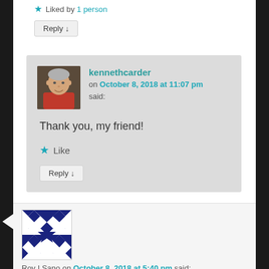★ Liked by 1 person
Reply ↓
kennethcarder
on October 8, 2018 at 11:07 pm said:
Thank you, my friend!
★ Like
Reply ↓
[Figure (photo): Avatar photo of an elderly man in a red shirt]
Roy I Sano on October 8, 2018 at 5:40 pm said:
[Figure (illustration): Geometric blue and white quilt-like avatar pattern]